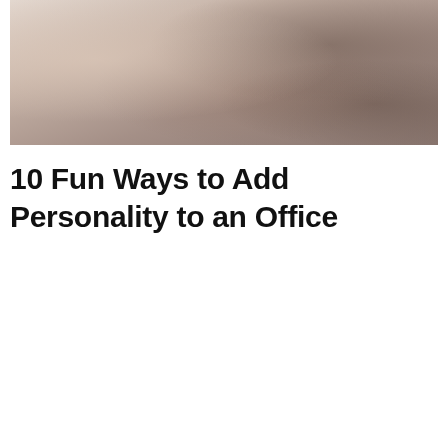[Figure (photo): A top-down view of an office desk with a computer/laptop and desk accessories, rendered in warm muted tones of beige, tan, and brown.]
10 Fun Ways to Add Personality to an Office